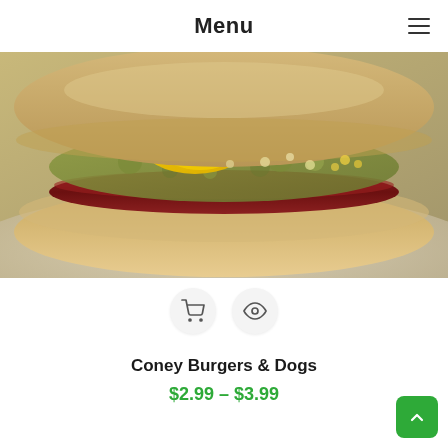Menu
[Figure (photo): Close-up photo of a coney hot dog in a bun topped with chili, mustard, and onions]
Coney Burgers & Dogs
$2.99 – $3.99